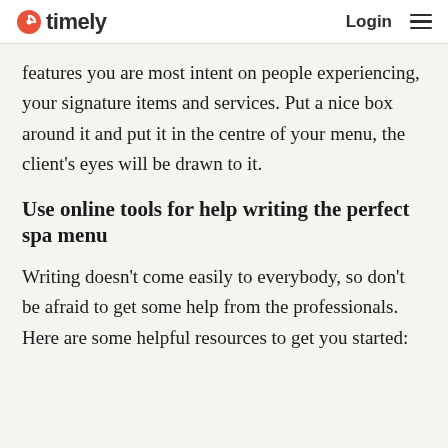timely | Login
features you are most intent on people experiencing, your signature items and services. Put a nice box around it and put it in the centre of your menu, the client’s eyes will be drawn to it.
Use online tools for help writing the perfect spa menu
Writing doesn’t come easily to everybody, so don’t be afraid to get some help from the professionals. Here are some helpful resources to get you started: